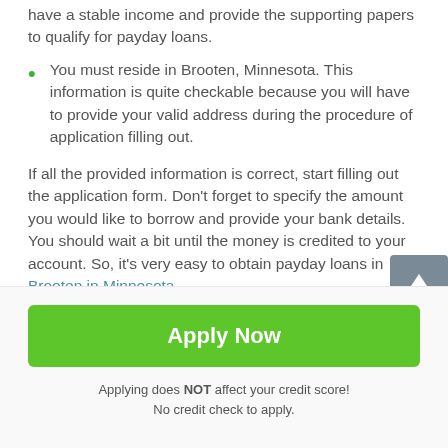Your bad credit history is not important, but you must have a stable income and provide the supporting papers to qualify for payday loans.
You must reside in Brooten, Minnesota. This information is quite checkable because you will have to provide your valid address during the procedure of application filling out.
If all the provided information is correct, start filling out the application form. Don't forget to specify the amount you would like to borrow and provide your bank details. You should wait a bit until the money is credited to your account. So, it's very easy to obtain payday loans in Brooten in Minnesota.
Apply Now
Applying does NOT affect your credit score!
No credit check to apply.